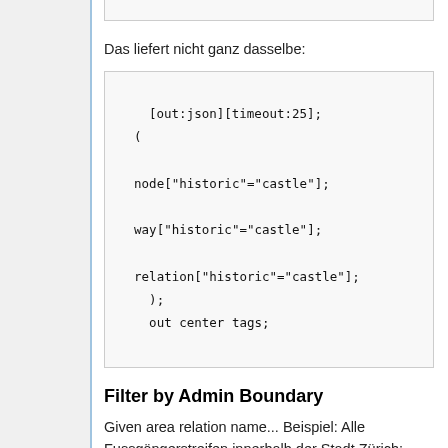[Figure (screenshot): Top clipped code block (partial, cut off at top)]
Das liefert nicht ganz dasselbe:
[Figure (screenshot): Code block: [out:json][timeout:25];
(

node["historic"="castle"];

way["historic"="castle"];

relation["historic"="castle"];
  );
  out center tags;]
Filter by Admin Boundary
Given area relation name... Beispiel: Alle Fussgängerstreifen innerhalb der Stadt Zürich:
[Figure (screenshot): Bottom code block starting with /*]